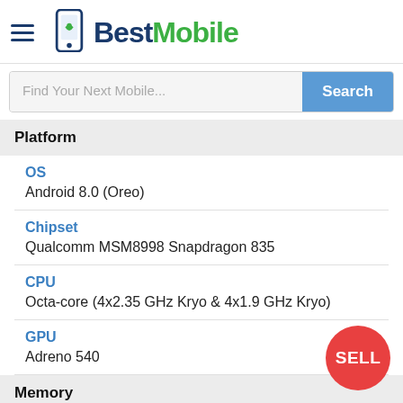BestMobile
Find Your Next Mobile...
Platform
OS
Android 8.0 (Oreo)
Chipset
Qualcomm MSM8998 Snapdragon 835
CPU
Octa-core (4x2.35 GHz Kryo & 4x1.9 GHz Kryo)
GPU
Adreno 540
Memory
RAM